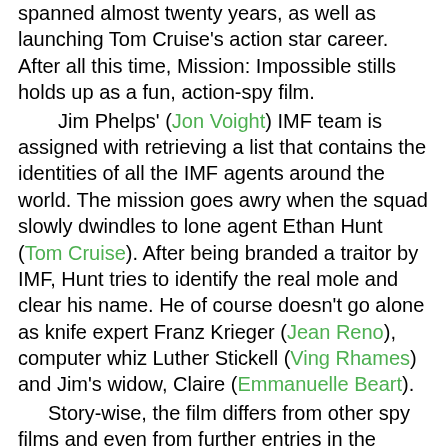spanned almost twenty years, as well as launching Tom Cruise's action star career. After all this time, Mission: Impossible stills holds up as a fun, action-spy film. Jim Phelps' (Jon Voight) IMF team is assigned with retrieving a list that contains the identities of all the IMF agents around the world. The mission goes awry when the squad slowly dwindles to lone agent Ethan Hunt (Tom Cruise). After being branded a traitor by IMF, Hunt tries to identify the real mole and clear his name. He of course doesn't go alone as knife expert Franz Krieger (Jean Reno), computer whiz Luther Stickell (Ving Rhames) and Jim's widow, Claire (Emmanuelle Beart). Story-wise, the film differs from other spy films and even from further entries in the franchise. Shootouts and gadgets were kept to a minimum in exchange for an emphasis on the team aspect and building suspense. The portrayal of Ethan Hunt is a perfect character for a spy-genre film. He isn't a superhero, but rather a vulnerable hero who is very worried and distressed once his whole team is killed.  These characteristics fit a man who has essentially become a fugitive, thus making it seem like his mission is even more impossible than initially thought. While Ethan Hunt is clearly the main protagonist, the...